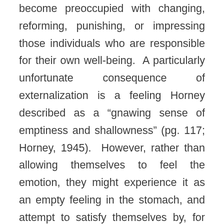become preoccupied with changing, reforming, punishing, or impressing those individuals who are responsible for their own well-being. A particularly unfortunate consequence of externalization is a feeling Horney described as a “gnawing sense of emptiness and shallowness” (pg. 117; Horney, 1945). However, rather than allowing themselves to feel the emotion, they might experience it as an empty feeling in the stomach, and attempt to satisfy themselves by, for example, overeating. Overall, the self-contempt they feel is externalized in two basic ways: either despising others, or feeling that others despise them. Either way, it is easy to see how damaged the individual’s personal